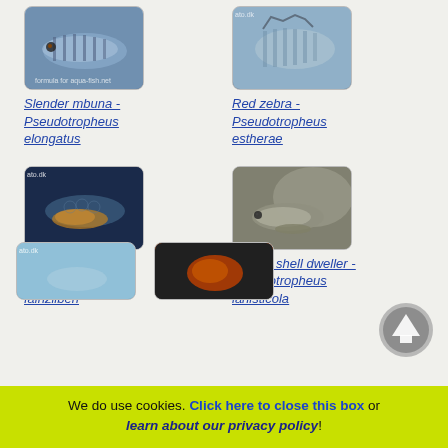[Figure (photo): Photo of Slender mbuna fish - Pseudotropheus elongatus, striped blue/grey cichlid]
Slender mbuna - Pseudotropheus elongatus
[Figure (photo): Photo of Red zebra - Pseudotropheus estherae, patterned cichlid with dorsal fins visible]
Red zebra - Pseudotropheus estherae
[Figure (photo): Photo of Mbuna cichlid - Pseudotropheus fainzilberi, dark background with yellow-orange belly]
Mbuna cichlid - Pseudotropheus fainzilberi
[Figure (photo): Photo of Malawi shell dweller - Pseudotropheus lanisticola, grey/brown cichlid on rock]
Malawi shell dweller - Pseudotropheus lanisticola
[Figure (photo): Partial photo, bottom row left, light blue background with fish]
[Figure (photo): Partial photo, bottom row right, dark with orange fish]
We do use cookies. Click here to close this box or learn about our privacy policy!